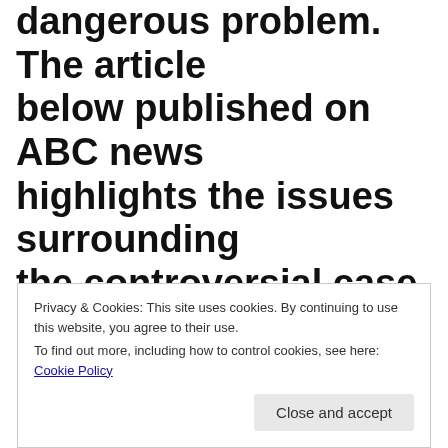penile implant is a potentially dangerous problem. The article below published on ABC news highlights the issues surrounding the controversial case of a Miami
Privacy & Cookies: This site uses cookies. By continuing to use this website, you agree to their use. To find out more, including how to control cookies, see here: Cookie Policy